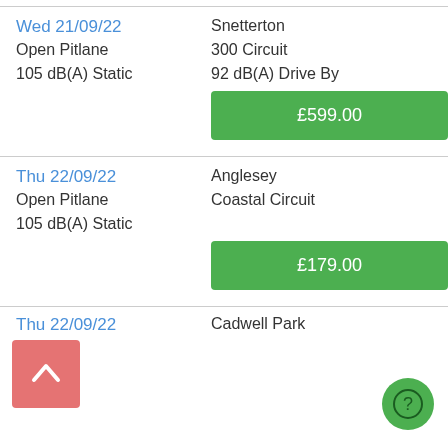Wed 21/09/22
Snetterton
Open Pitlane
300 Circuit
105 dB(A) Static
92 dB(A) Drive By
£599.00
Thu 22/09/22
Anglesey
Open Pitlane
Coastal Circuit
105 dB(A) Static
£179.00
Thu 22/09/22
Cadwell Park